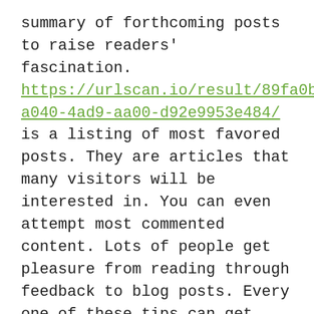summary of forthcoming posts to raise readers' fascination. https://urlscan.io/result/89fa0bb4-a040-4ad9-aa00-d92e9953e484/ is a listing of most favored posts. They are articles that many visitors will be interested in. You can even attempt most commented content. Lots of people get pleasure from reading through feedback to blog posts. Every one of these tips can get readers enthusiastic about not only your current articles.

Use social media to enhance your site. Set backlinks to the blog site on each and every social media website and create webpages to your weblog on these internet websites, so that visitors have various options for following your blog. Social media sites like Twitter and facebook are well-known and could be